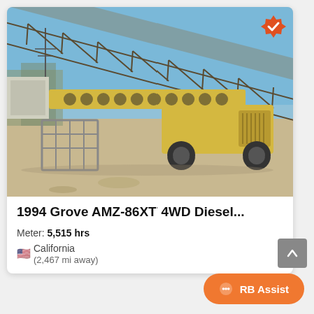[Figure (photo): Yellow 1994 Grove AMZ-86XT 4WD Diesel boom lift parked at a construction/industrial site with a large conveyor structure overhead, sandy ground, blue sky.]
1994 Grove AMZ-86XT 4WD Diesel...
Meter: 5,515 hrs
California
(2,467 mi away)